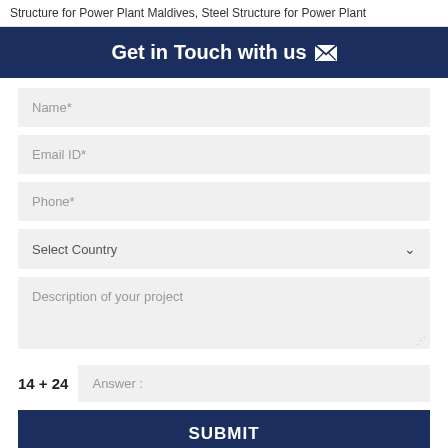Structure for Power Plant Maldives, Steel Structure for Power Plant
Get in Touch with us ✉
Name*
Email ID*
Phone*
Select Country
Description of your project
14 + 24   Answer :
SUBMIT